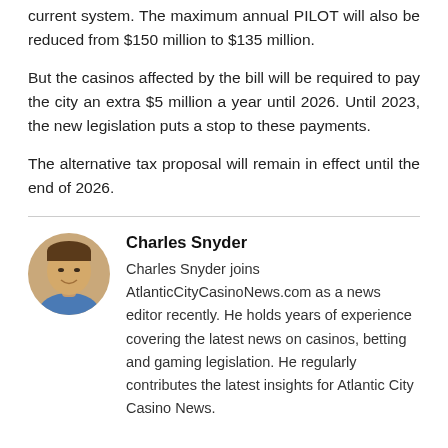current system. The maximum annual PILOT will also be reduced from $150 million to $135 million.
But the casinos affected by the bill will be required to pay the city an extra $5 million a year until 2026. Until 2023, the new legislation puts a stop to these payments.
The alternative tax proposal will remain in effect until the end of 2026.
[Figure (photo): Circular headshot photo of Charles Snyder, a young man smiling]
Charles Snyder
Charles Snyder joins AtlanticCityCasinoNews.com as a news editor recently. He holds years of experience covering the latest news on casinos, betting and gaming legislation. He regularly contributes the latest insights for Atlantic City Casino News.